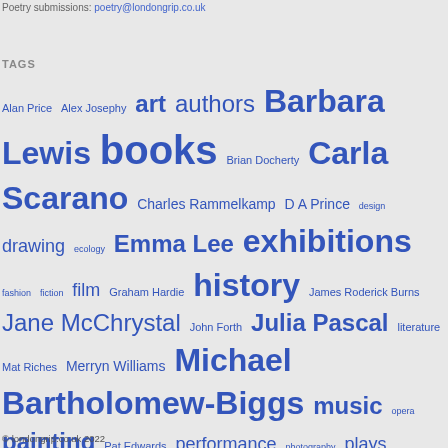Poetry submissions: poetry@londongrip.co.uk
TAGS
Alan Price Alex Josephy art authors Barbara Lewis books Brian Docherty Carla Scarano Charles Rammelkamp D A Prince design drawing ecology Emma Lee exhibitions fashion fiction film Graham Hardie history James Roderick Burns Jane McChrystal John Forth Julia Pascal literature Mat Riches Merryn Williams Michael Bartholomew-Biggs music opera painting Pat Edwards performance photography plays poetry politics Richie McCaffery sculpture society Stuart Henson theatre Thomas Ovans travel Wendy French
© londongrip.co.uk 2022